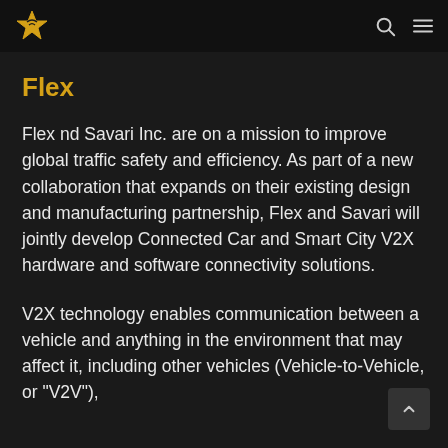Flex [logo and navigation icons]
Flex
Flex nd Savari Inc. are on a mission to improve global traffic safety and efficiency. As part of a new collaboration that expands on their existing design and manufacturing partnership, Flex and Savari will jointly develop Connected Car and Smart City V2X hardware and software connectivity solutions.
V2X technology enables communication between a vehicle and anything in the environment that may affect it, including other vehicles (Vehicle-to-Vehicle, or “V2V”),